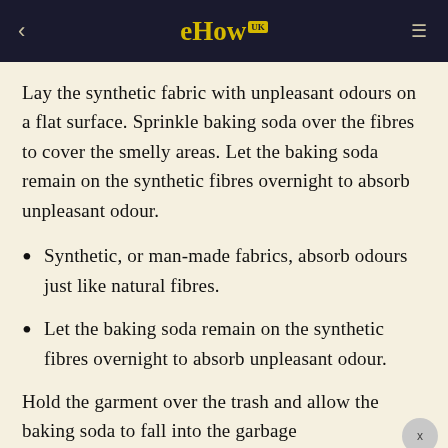eHow UK
Lay the synthetic fabric with unpleasant odours on a flat surface. Sprinkle baking soda over the fibres to cover the smelly areas. Let the baking soda remain on the synthetic fibres overnight to absorb unpleasant odour.
Synthetic, or man-made fabrics, absorb odours just like natural fibres.
Let the baking soda remain on the synthetic fibres overnight to absorb unpleasant odour.
Hold the garment over the trash and allow the baking soda to fall into the garbage